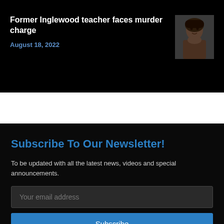Former Inglewood teacher faces murder charge
August 18, 2022
[Figure (photo): Headshot photo of a man, appears to be a mugshot or ID photo]
Subscribe To Our Newsletter!
To be updated with all the latest news, videos and special announcements.
Your email address
Subscribe